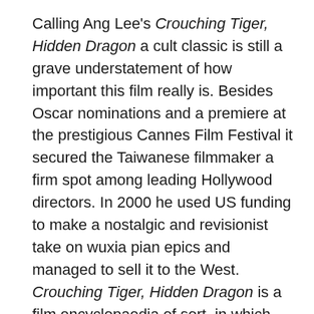Calling Ang Lee's Crouching Tiger, Hidden Dragon a cult classic is still a grave understatement of how important this film really is. Besides Oscar nominations and a premiere at the prestigious Cannes Film Festival it secured the Taiwanese filmmaker a firm spot among leading Hollywood directors. In 2000 he used US funding to make a nostalgic and revisionist take on wuxia pian epics and managed to sell it to the West. Crouching Tiger, Hidden Dragon is a film encyclopaedia of sort, in which Lee summarizes dozens of external influences. The plot is based on the literary tradition of Chinese knight stories and several scenes refer explicitly to the works of another Taiwanese great, King Hu. Lee and Hu also share what film critic Jaime Rebanal calls a